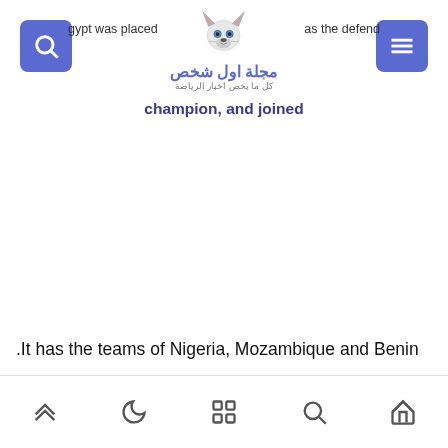Egypt was placed … as the defending champion, and joined — مجلة اول شخص | كل ما يخص اخبار الرياضة
It has the teams of Nigeria, Mozambique and Benin.